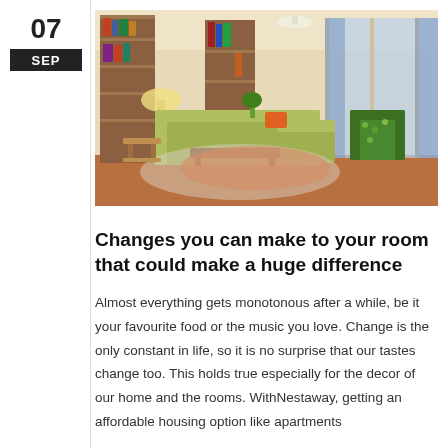07
SEP
[Figure (photo): Interior photo of a modern living room with a large sectional sofa, bookshelves, orange rug, and large windows with blue curtains.]
Changes you can make to your room that could make a huge difference
Almost everything gets monotonous after a while, be it your favourite food or the music you love. Change is the only constant in life, so it is no surprise that our tastes change too. This holds true especially for the decor of our home and the rooms. WithNestaway, getting an affordable housing option like apartments